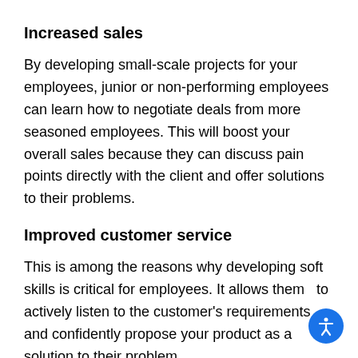Increased sales
By developing small-scale projects for your employees, junior or non-performing employees can learn how to negotiate deals from more seasoned employees. This will boost your overall sales because they can discuss pain points directly with the client and offer solutions to their problems.
Improved customer service
This is among the reasons why developing soft skills is critical for employees. It allows them  to actively listen to the customer's requirements and confidently propose your product as a solution to their problem.
Whether you're a CEO, COO, Director, or Executive Assistant to the President, we can help. We have